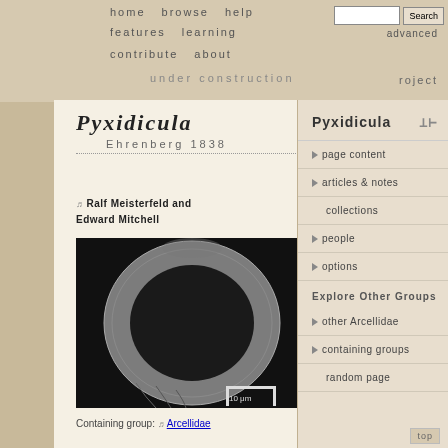home  browse  help  features  learning  contribute  about  advanced  roject  under construction
Pyxidicula
Ehrenberg 1838
Ralf Meisterfeld and Edward Mitchell
[Figure (photo): Scanning electron microscope image of Pyxidicula, showing a ring-shaped shell with scale bar 10 μm]
Containing group: Arcellidae
Introduction
Eight species, type species: Pyxidicula operculata (Agardh,